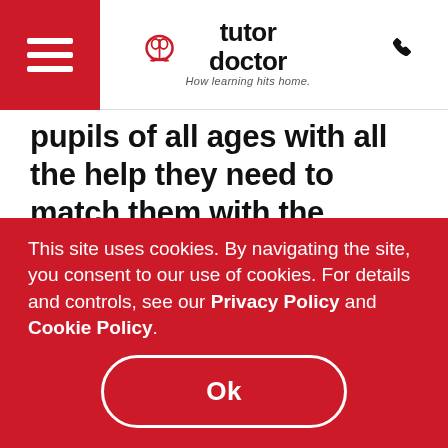[Figure (logo): Tutor Doctor logo with hamburger menu on red background, brain icon, 'tutor doctor' text, tagline 'How learning hits home.', and phone icon]
pupils of all ages with all the help they need to match them with the perfect local tutor and to provide personalised learning plans tailored to the pupil's unique needs.
This site uses cookies. By navigating the site, you consent to our use of cookies. For details and controls, see our Privacy Policy and Cookie Policy.
Ok